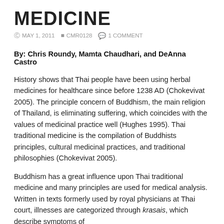MEDICINE
MAY 1, 2011  CMR0128  1 COMMENT
By: Chris Roundy, Mamta Chaudhari, and DeAnna Castro
History shows that Thai people have been using herbal medicines for healthcare since before 1238 AD (Chokevivat 2005). The principle concern of Buddhism, the main religion of Thailand, is eliminating suffering, which coincides with the values of medicinal practice well (Hughes 1995). Thai traditional medicine is the compilation of Buddhists principles, cultural medicinal practices, and traditional philosophies (Chokevivat 2005).
Buddhism has a great influence upon Thai traditional medicine and many principles are used for medical analysis. Written in texts formerly used by royal physicians at Thai court, illnesses are categorized through krasais, which describe symptoms of